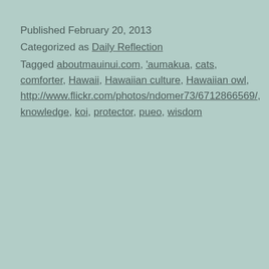Published February 20, 2013
Categorized as Daily Reflection
Tagged aboutmauinui.com, 'aumakua, cats, comforter, Hawaii, Hawaiian culture, Hawaiian owl, http://www.flickr.com/photos/ndomer73/6712866569/, knowledge, koi, protector, pueo, wisdom